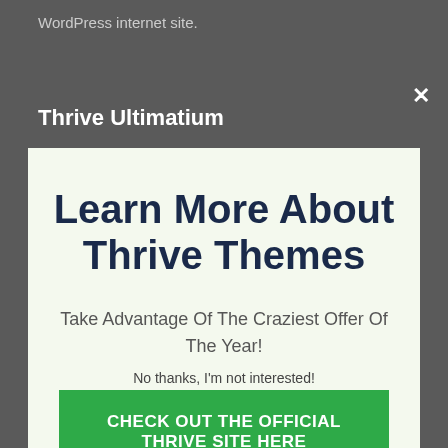WordPress internet site.
Thrive Ultimatium
[Figure (screenshot): Modal popup overlay with light green background containing headline 'Learn More About Thrive Themes', subtext 'Take Advantage Of The Craziest Offer Of The Year!', and a green CTA button 'CHECK OUT THE OFFICIAL THRIVE SITE HERE']
Take Advantage Of The Craziest Offer Of The Year!
CHECK OUT THE OFFICIAL THRIVE SITE HERE
No thanks, I'm not interested!
instantly repeating projects to make sure that your scarcity campaigns happen consistently, as well as they likewise offer the ultimate evergreen system that offers all users their own due